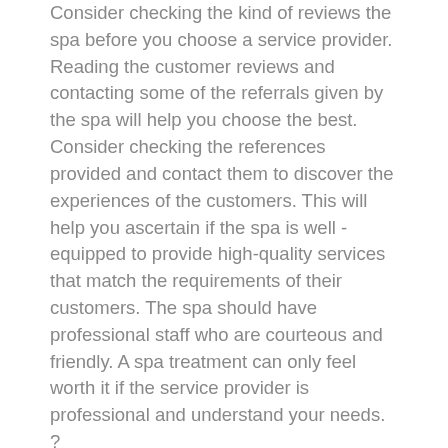Consider checking the kind of reviews the spa before you choose a service provider. Reading the customer reviews and contacting some of the referrals given by the spa will help you choose the best. Consider checking the references provided and contact them to discover the experiences of the customers. This will help you ascertain if the spa is well -equipped to provide high-quality services that match the requirements of their customers. The spa should have professional staff who are courteous and friendly. A spa treatment can only feel worth it if the service provider is professional and understand your needs. ?
It is important to choose a facility that has modern spa equipment. You need to visit the spa and check whether they have invested in modern spa equipment. Find out the products they use at the